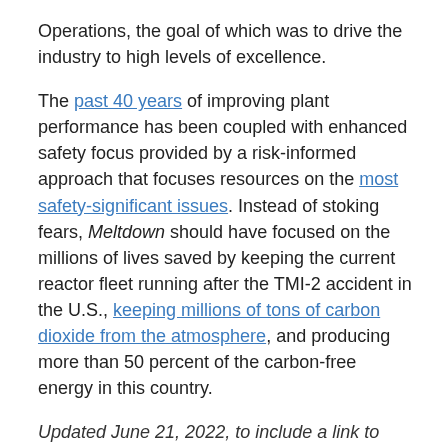Operations, the goal of which was to drive the industry to high levels of excellence.
The past 40 years of improving plant performance has been coupled with enhanced safety focus provided by a risk-informed approach that focuses resources on the most safety-significant issues. Instead of stoking fears, Meltdown should have focused on the millions of lives saved by keeping the current reactor fleet running after the TMI-2 accident in the U.S., keeping millions of tons of carbon dioxide from the atmosphere, and producing more than 50 percent of the carbon-free energy in this country.
Updated June 21, 2022, to include a link to ANS interview with Lake Barrett.
Correction issued August 2, 2022, to a statement